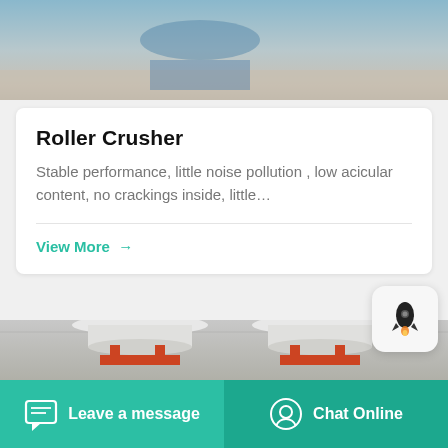[Figure (photo): Top portion of industrial crusher machine on concrete floor, partially cropped]
Roller Crusher
Stable performance, little noise pollution , low acicular content, no crackings inside, little…
View More →
[Figure (photo): Industrial cone crusher machines in a warehouse/factory setting, white and orange colored, multiple units visible]
Leave a message   Chat Online